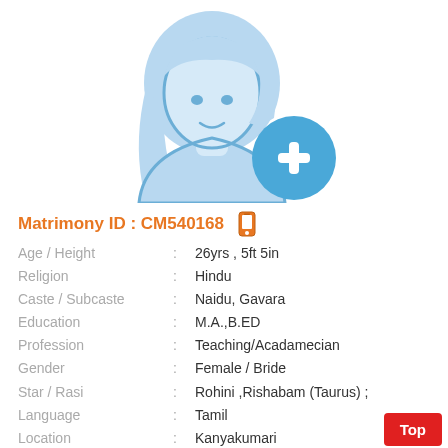[Figure (illustration): Female profile silhouette icon in light blue with a blue circle containing a white plus sign in the bottom right]
Matrimony ID : CM540168
| Age / Height | : | 26yrs , 5ft 5in |
| Religion | : | Hindu |
| Caste / Subcaste | : | Naidu, Gavara |
| Education | : | M.A.,B.ED |
| Profession | : | Teaching/Acadamecian |
| Gender | : | Female / Bride |
| Star / Rasi | : | Rohini ,Rishabam (Taurus) ; |
| Language | : | Tamil |
| Location | : | Kanyakumari |
| District | : | Kanyakumari |
| State | : | Tamil Nadu |
| Country | : | India |